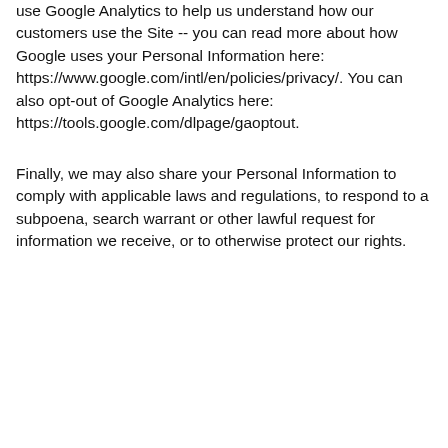use Google Analytics to help us understand how our customers use the Site -- you can read more about how Google uses your Personal Information here: https://www.google.com/intl/en/policies/privacy/. You can also opt-out of Google Analytics here: https://tools.google.com/dlpage/gaoptout.
Finally, we may also share your Personal Information to comply with applicable laws and regulations, to respond to a subpoena, search warrant or other lawful request for information we receive, or to otherwise protect our rights.